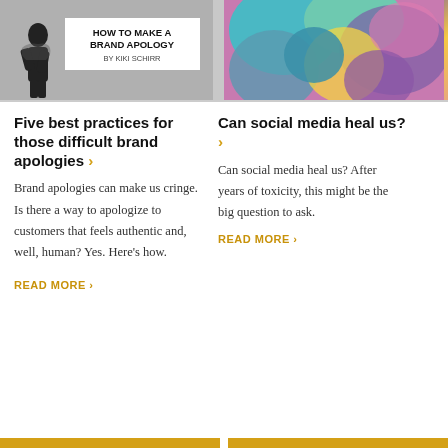[Figure (illustration): Black and white image with text overlay 'HOW TO MAKE A BRAND APOLOGY BY KIKI SCHIRR' on white box, with a dark silhouette figure]
[Figure (illustration): Colorful abstract mural with teal, purple, pink, and yellow organic shapes]
Five best practices for those difficult brand apologies ›
Can social media heal us? ›
Brand apologies can make us cringe. Is there a way to apologize to customers that feels authentic and, well, human? Yes. Here's how.
Can social media heal us? After years of toxicity, this might be the big question to ask.
READ MORE ›
READ MORE ›